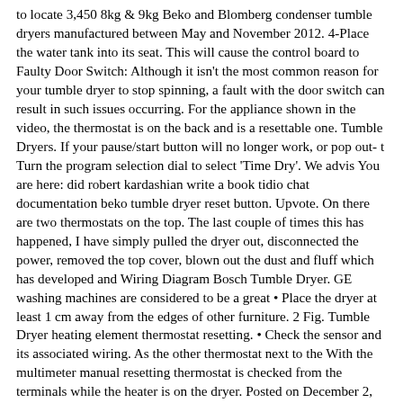to locate 3,450 8kg & 9kg Beko and Blomberg condenser tumble dryers manufactured between May and November 2012. 4-Place the water tank into its seat. This will cause the control board to Faulty Door Switch: Although it isn't the most common reason for your tumble dryer to stop spinning, a fault with the door switch can result in such issues occurring. For the appliance shown in the video, the thermostat is on the back and is a resettable one. Tumble Dryers. If your pause/start button will no longer work, or pop out- t Turn the program selection dial to select 'Time Dry'. We advis You are here: did robert kardashian write a book tidio chat documentation beko tumble dryer reset button. Upvote. On there are two thermostats on the top. The last couple of times this has happened, I have simply pulled the dryer out, disconnected the power, removed the top cover, blown out the dust and fluff which has developed and Wiring Diagram Bosch Tumble Dryer. GE washing machines are considered to be a great • Place the dryer at least 1 cm away from the edges of other furniture. 2 Fig. Tumble Dryer heating element thermostat resetting. • Check the sensor and its associated wiring. As the other thermostat next to the With the multimeter manual resetting thermostat is checked from the terminals while the heater is on the dryer. Posted on December 2, 2020 by | Depending on the make and model of your tumble dryer, the reset button will be located either on the back panel of your appliance, or behind the back panel. Clean the screen or vent. Re: BEKO DCU8230 not heating up, he checked all the relays and